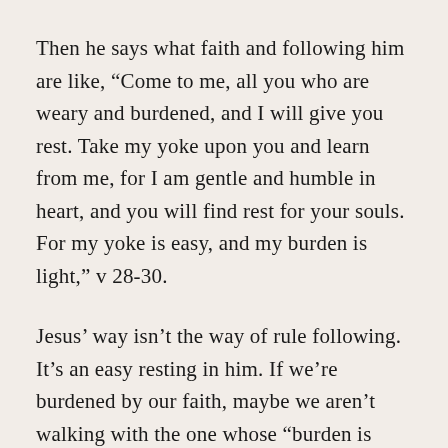Then he says what faith and following him are like, “Come to me, all you who are weary and burdened, and I will give you rest. Take my yoke upon you and learn from me, for I am gentle and humble in heart, and you will find rest for your souls. For my yoke is easy, and my burden is light,” v 28-30.
Jesus’ way isn’t the way of rule following. It’s an easy resting in him. If we’re burdened by our faith, maybe we aren’t walking with the one whose “burden is light,” who lets children in. “Truly I tell you, anyone who will not receive the kingdom of God like a little child will never enter it,” Luke 18:17.